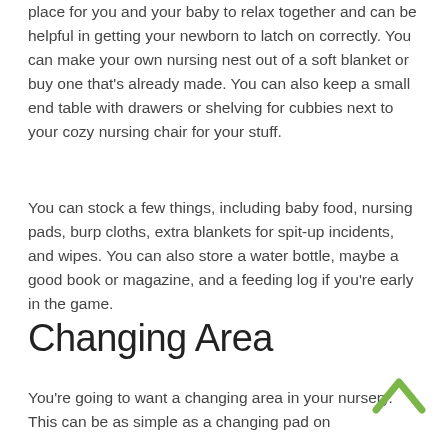place for you and your baby to relax together and can be helpful in getting your newborn to latch on correctly. You can make your own nursing nest out of a soft blanket or buy one that's already made. You can also keep a small end table with drawers or shelving for cubbies next to your cozy nursing chair for your stuff.
You can stock a few things, including baby food, nursing pads, burp cloths, extra blankets for spit-up incidents, and wipes. You can also store a water bottle, maybe a good book or magazine, and a feeding log if you're early in the game.
Changing Area
You're going to want a changing area in your nursery. This can be as simple as a changing pad on